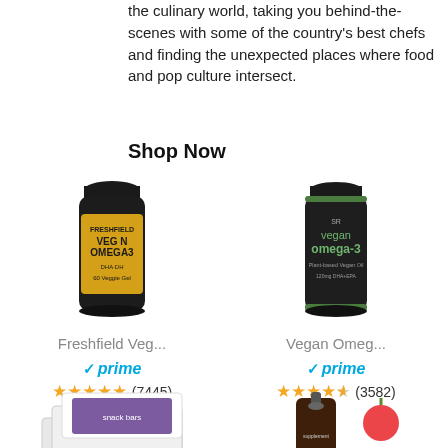the culinary world, taking you behind-the-scenes with some of the country's best chefs and finding the unexpected places where food and pop culture intersect.
Shop Now
[Figure (photo): Freshfield Vegan Omega-3 supplement bottle with yellow label]
Freshfield Veg...
✓prime
★★★★★ (7445)
[Figure (photo): Vegan Omega-3 dark green supplement bottle]
Vegan Omeg...
✓prime
★★★★☆ (3582)
[Figure (photo): Box of food bars or snack cards product]
[Figure (photo): Dark supplement dropper bottle with red cherry graphic]